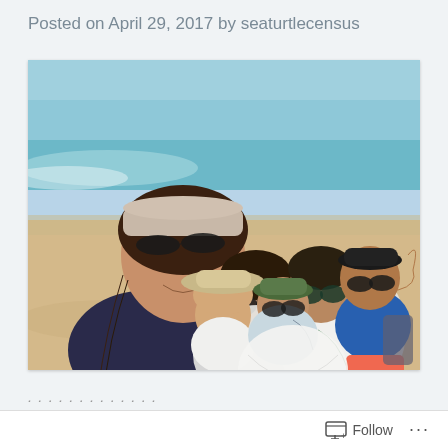Posted on April 29, 2017 by seaturtlecensus
[Figure (photo): Group selfie of six women on a sandy beach with turquoise ocean in the background. They are holding white garbage bags and appear to be doing a beach cleanup. Some wear hats and sunglasses. One woman in the foreground is taking the selfie, another in the back right is flexing her arm.]
...partial text partially visible...
Follow ...